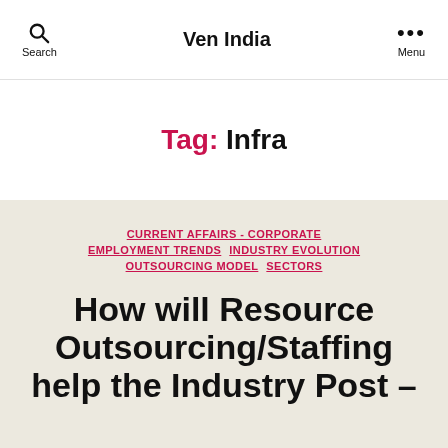Search | Ven India | Menu
Tag: Infra
CURRENT AFFAIRS - CORPORATE  EMPLOYMENT TRENDS  INDUSTRY EVOLUTION  OUTSOURCING MODEL  SECTORS
How will Resource Outsourcing/Staffing help the Industry Post – COVID?